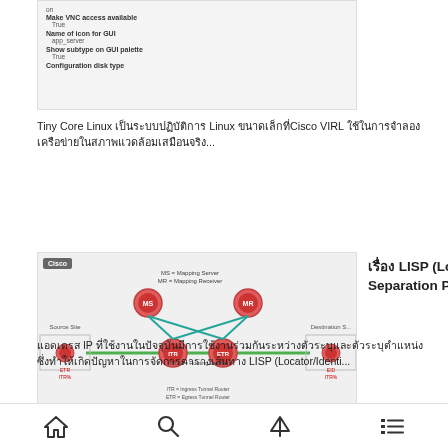[Figure (screenshot): Configuration screenshot showing VNC access settings with fields: Make VNC access available: True, Name of icon for GUI: app_server, Show subtype on GUI palette: True, Configuration disk type]
Tiny Core Linux เป็นระบบปฏิบัติการ Linux ขนาดเล็กที่ Cisco VIRL ใช้ในการจำลองเครือข่ายในสภาพแวดล้อมเสมือนจริง...
[Figure (network-graph): LISP network topology diagram with Cisco branding showing MS=Mapping Server, MR=Mapping Receiver nodes at top, ITR=Ingress Tunnel Router, ETR=Egress Tunnel Router nodes at bottom, connected by green horizontal line and teal diagonal lines. Source Site on left, Destination Site on right.]
เรื่อง LISP (Location/Identifier Separation Protocol)
แอดเดรส IP ที่ใช้งานในปัจจุบันมีการใช้งานร่วมกันระหว่างตัวระบุและตัวระบุตำแหน่งซึ่งทำให้เกิดปัญหาในการจัดการตารางเส้นทาง LISP (Locator/Identi...
[Figure (photo): Cisco branded card with NO IMAGE placeholder for Catalyst 9300]
Catalyst 9300 สวิตช์เลเยอร์
[Figure (other): Bottom navigation bar with home, search, up arrow, and list icons]